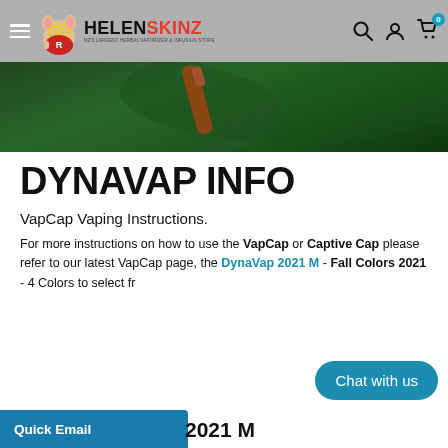HELENSKINZ — NZ's Largest Herbal Vaporizer & Infusion Store
[Figure (photo): Green background banner with a DynaVap device visible, zoomed product shot on dark green leafy background]
DYNAVAP INFO
VapCap Vaping Instructions.
For more instructions on how to use the VapCap or Captive Cap please refer to our latest VapCap page, the DynaVap 2021 M - Fall Colors 2021 - 4 Colors to select fr…
2021 M